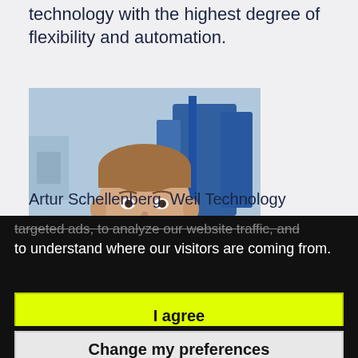technology with the highest degree of flexibility and automation.
[Figure (photo): Portrait photo of Artur Schellenberg, a man in a dark shirt, in an industrial/factory setting with blue machinery in the background]
Artur Schellenberg, Weil Technology
targeted ads, to analyze our website traffic, and to understand where our visitors are coming from.
I agree
I decline
Change my preferences